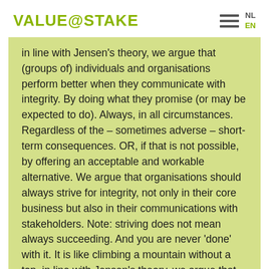VALUE@STAKE
in line with Jensen's theory, we argue that (groups of) individuals and organisations perform better when they communicate with integrity. By doing what they promise (or may be expected to do). Always, in all circumstances. Regardless of the – sometimes adverse – short-term consequences. OR, if that is not possible, by offering an acceptable and workable alternative. We argue that organisations should always strive for integrity, not only in their core business but also in their communications with stakeholders. Note: striving does not mean always succeeding. And you are never 'done' with it. It is like climbing a mountain without a top.
But those who want to be successful have no